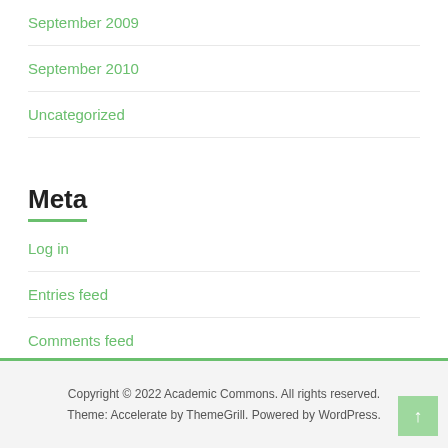September 2009
September 2010
Uncategorized
Meta
Log in
Entries feed
Comments feed
WordPress.org
Copyright © 2022 Academic Commons. All rights reserved. Theme: Accelerate by ThemeGrill. Powered by WordPress.